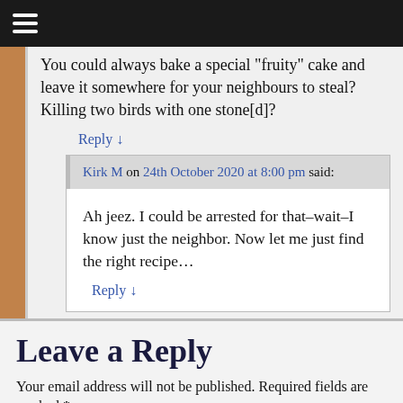☰
You could always bake a special "fruity" cake and leave it somewhere for your neighbours to steal? Killing two birds with one stone[d]?
Reply ↓
Kirk M on 24th October 2020 at 8:00 pm said:
Ah jeez. I could be arrested for that–wait–I know just the neighbor. Now let me just find the right recipe…
Reply ↓
Leave a Reply
Your email address will not be published. Required fields are marked *